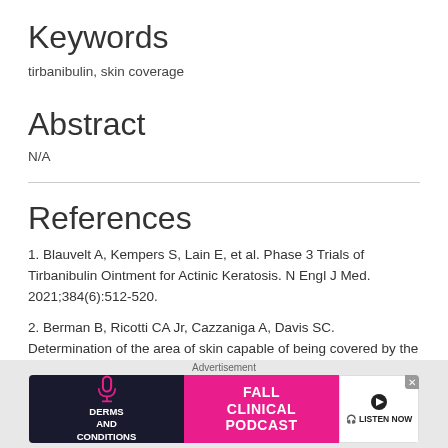Keywords
tirbanibulin, skin coverage
Abstract
N/A
References
1. Blauvelt A, Kempers S, Lain E, et al. Phase 3 Trials of Tirbanibulin Ointment for Actinic Keratosis. N Engl J Med. 2021;384(6):512-520.
2. Berman B, Ricotti CA Jr, Cazzaniga A, Davis SC. Determination of the area of skin capable of being covered by the application of 250 mg of 5% imiquimod cream. Dermatol Surg. 2004;30(5):784-786.
[Figure (other): Advertisement banner for 'Derms and Conditions' Fall Clinical Podcast with 'Listen Now' button]